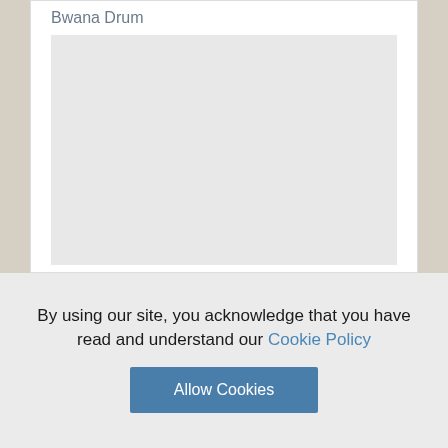Bwana Drum
Junod(Henry, A)
THE LIFE OF A SOUTH AFRICAN TRIBE
Volume ! & !!
By using our site, you acknowledge that you have read and understand our Cookie Policy
Allow Cookies